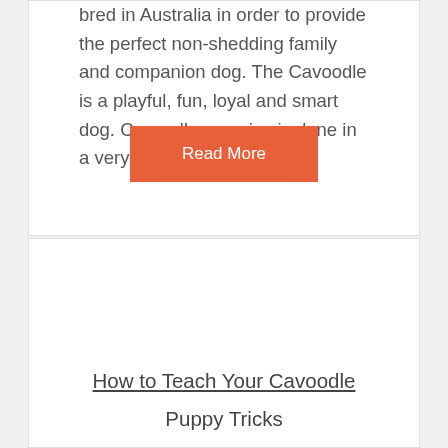bred in Australia in order to provide the perfect non-shedding family and companion dog. The Cavoodle is a playful, fun, loyal and smart dog. Cavoodle exercise is done in a very easy way,
Read More
How to Teach Your Cavoodle Puppy Tricks